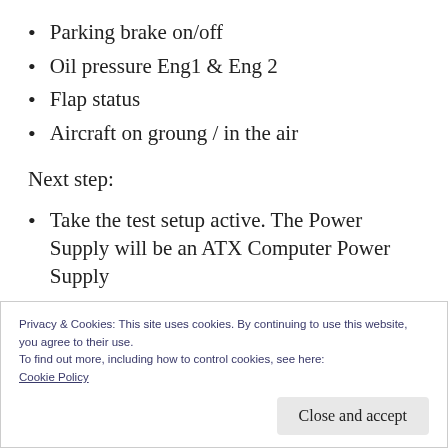Parking brake on/off
Oil pressure Eng1 & Eng 2
Flap status
Aircraft on groung / in the air
Next step:
Take the test setup active. The Power Supply will be an ATX Computer Power Supply
Programming the first scripts
Privacy & Cookies: This site uses cookies. By continuing to use this website, you agree to their use.
To find out more, including how to control cookies, see here:
Cookie Policy
Close and accept